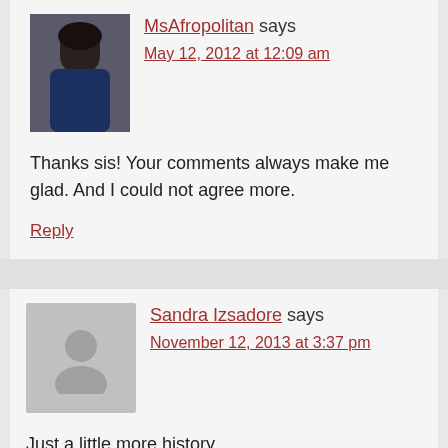MsAfropolitan says
May 12, 2012 at 12:09 am
Thanks sis! Your comments always make me glad. And I could not agree more.
Reply
Sandra Izsadore says
November 12, 2013 at 3:37 pm
Just a little more history.
Reply